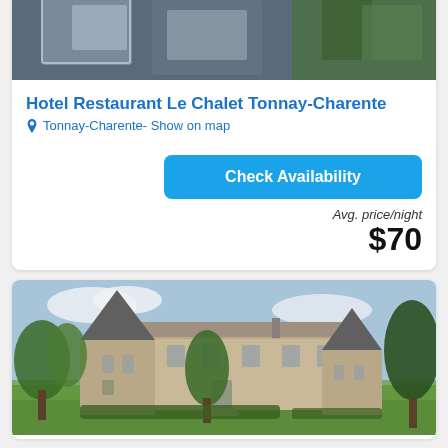[Figure (photo): Top portion of a hotel building photo, partially cropped]
Hotel Restaurant Le Chalet Tonnay-Charente
Tonnay-Charente- Show on map
Check Availability
Avg. price/night
$70
[Figure (photo): A French chateau/castle with two conical towers, stone walls, and surrounded by green trees and lawn]